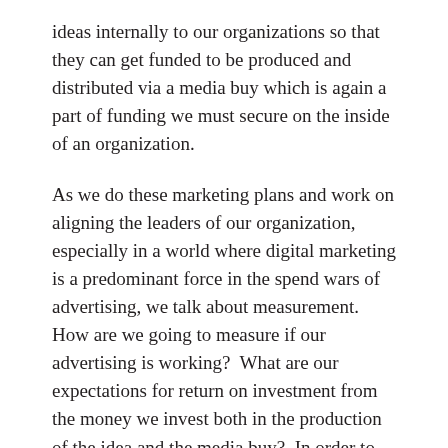ideas internally to our organizations so that they can get funded to be produced and distributed via a media buy which is again a part of funding we must secure on the inside of an organization.
As we do these marketing plans and work on aligning the leaders of our organization, especially in a world where digital marketing is a predominant force in the spend wars of advertising, we talk about measurement.  How are we going to measure if our advertising is working?  What are our expectations for return on investment from the money we invest both in the production of the idea and the media buy?  In order to answer this, we look to historical performance as a benchmark.  How has our audience responded to our advertising in the past, and how much has it helped to